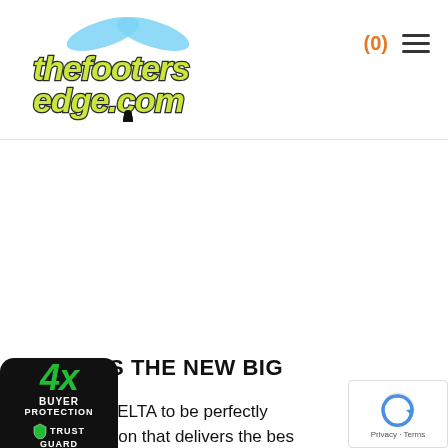thefootersedge.com — (0) [menu]
SMALL IS THE NEW BIG
...size allows DELTA to be perfectly ...d in the location that delivers the bes... ...wave performance for your boat. DELTA's